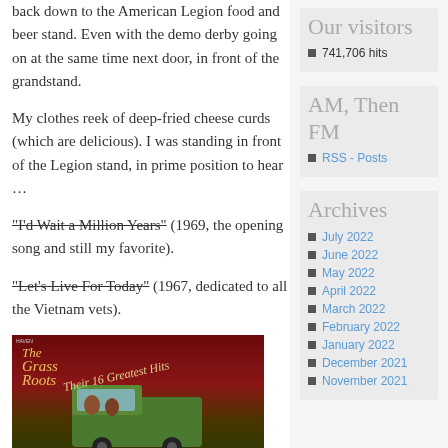back down to the American Legion food and beer stand. Even with the demo derby going on at the same time next door, in front of the grandstand.
My clothes reek of deep-fried cheese curds (which are delicious). I was standing in front of the Legion stand, in prime position to hear …
“I’d Wait a Million Years” (1969, the opening song and still my favorite).
“Let’s Live For Today” (1967, dedicated to all the Vietnam vets).
[Figure (photo): Album cover for The Grass Roots - Their 16 Greatest Hits showing band members in and around a vintage green truck on a colorful background]
Our visitors
741,706 hits
AM, Then FM
RSS - Posts
Archives
July 2022
June 2022
May 2022
April 2022
March 2022
February 2022
January 2022
December 2021
November 2021